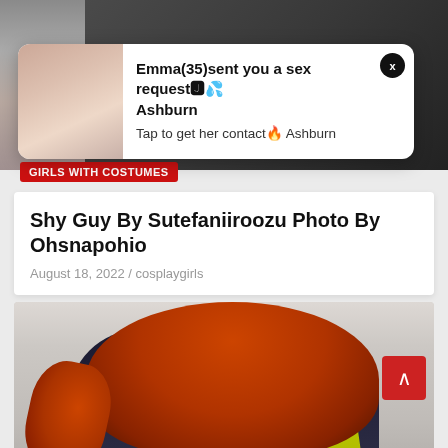[Figure (screenshot): Top portion of a dark background webpage/app showing a partially visible cosplay photo above a notification popup. A person with green hair is visible top right.]
[Figure (screenshot): Notification popup card with a thumbnail photo on the left and text: 'Emma(35)sent you a sex request🍑💦 Ashburn / Tap to get her contact🔥 Ashburn'. A close (X) button is in the top right corner.]
Emma(35)sent you a sex request🍑💦 Ashburn
Tap to get her contact🔥 Ashburn
GIRLS WITH COSTUMES
Shy Guy By Sutefaniiroozu Photo By Ohsnapohio
August 18, 2022 / cosplaygirls
[Figure (photo): A person wearing a dark navy/black form-fitting costume with a yellow-green accent stripe on the back, with long flowing red/auburn hair, photographed from behind in a bright room.]